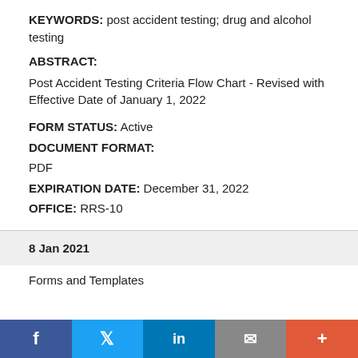KEYWORDS: post accident testing; drug and alcohol testing
ABSTRACT:
Post Accident Testing Criteria Flow Chart - Revised with Effective Date of January 1, 2022
FORM STATUS: Active
DOCUMENT FORMAT:
PDF
EXPIRATION DATE: December 31, 2022
OFFICE: RRS-10
8 Jan 2021
Forms and Templates